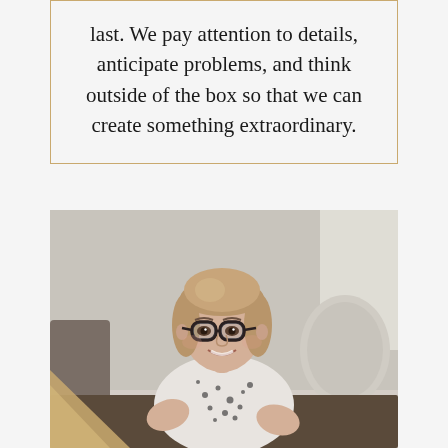last. We pay attention to details, anticipate problems, and think outside of the box so that we can create something extraordinary.
[Figure (photo): Professional headshot of a smiling woman with shoulder-length wavy blonde hair wearing dark-framed glasses and a white top with black dot pattern, seated in an interior setting with a decorative chair visible in the background.]